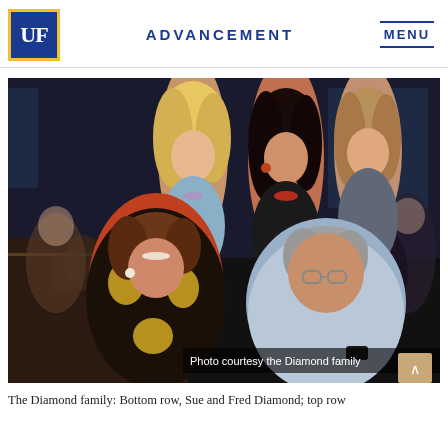UF ADVANCEMENT MENU
[Figure (photo): Group photo of the Diamond family at a dinner event. Bottom row: Sue and Fred Diamond seated; top row: three women standing behind them. Dark background suggesting an evening event at a restaurant or banquet hall. Photo courtesy the Diamond family.]
The Diamond family: Bottom row, Sue and Fred Diamond; top row